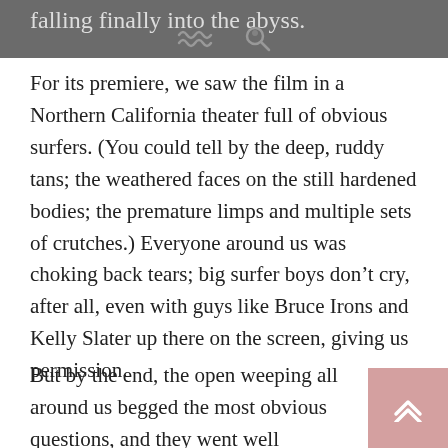falling finally into the abyss.
For its premiere, we saw the film in a Northern California theater full of obvious surfers. (You could tell by the deep, ruddy tans; the weathered faces on the still hardened bodies; the premature limps and multiple sets of crutches.) Everyone around us was choking back tears; big surfer boys don’t cry, after all, even with guys like Bruce Irons and Kelly Slater up there on the screen, giving us permission.
But by the end, the open weeping all around us begged the most obvious questions, and they went well beyond the tragedy at hand: Who